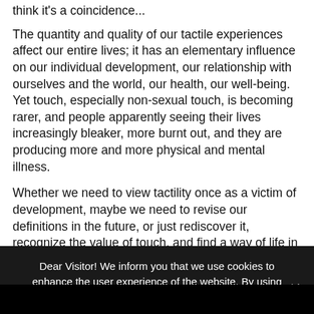think it's a coincidence...
The quantity and quality of our tactile experiences affect our entire lives; it has an elementary influence on our individual development, our relationship with ourselves and the world, our health, our well-being. Yet touch, especially non-sexual touch, is becoming rarer, and people apparently seeing their lives increasingly bleaker, more burnt out, and they are producing more and more physical and mental illness.
Whether we need to view tactility once as a victim of development, maybe we need to revise our definitions in the future, or just rediscover it, recognize the value of touch, and find a way of life in where our individual needs of tactile
Dear Visitor! We inform you that we use cookies to enhance the user experience of the website. By using our website, you acknowledge our information.